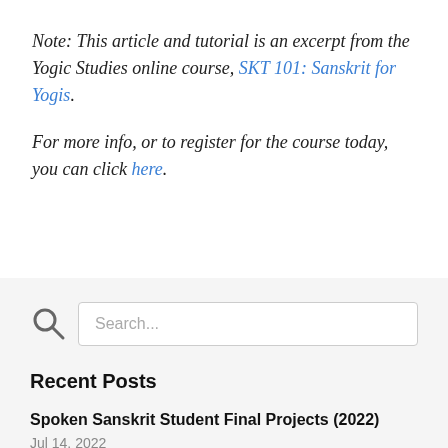Note: This article and tutorial is an excerpt from the Yogic Studies online course, SKT 101: Sanskrit for Yogis.
For more info, or to register for the course today, you can click here.
[Figure (other): Search input box with magnifying glass icon and placeholder text 'Search...']
Recent Posts
Spoken Sanskrit Student Final Projects (2022)
Jul 14, 2022